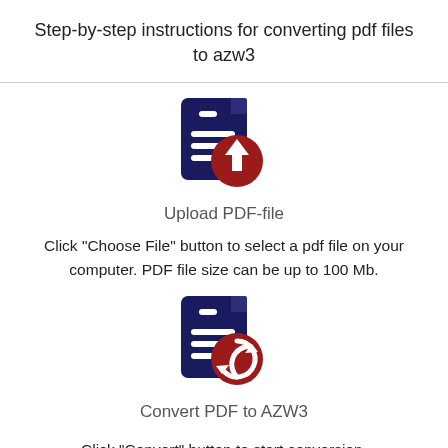Step-by-step instructions for converting pdf files to azw3
[Figure (illustration): Document icon with a red upload arrow circle badge, representing 'Upload PDF-file']
Upload PDF-file
Click "Choose File" button to select a pdf file on your computer. PDF file size can be up to 100 Mb.
[Figure (illustration): Document icon with a red circular arrows badge, representing 'Convert PDF to AZW3']
Convert PDF to AZW3
Click "Convert" button to start conversion.
[Figure (illustration): Partial view of another icon at the bottom of the page]